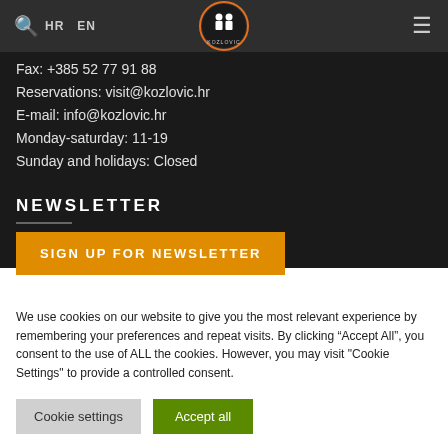Istria - Croatia | HR EN | Kozlovic logo | menu
Fax: +385 52 77 91 88
Reservations: visit@kozlovic.hr
E-mail: info@kozlovic.hr
Monday-saturday: 11-19
Sunday and holidays: Closed
NEWSLETTER
SIGN UP FOR NEWSLETTER
We use cookies on our website to give you the most relevant experience by remembering your preferences and repeat visits. By clicking “Accept All”, you consent to the use of ALL the cookies. However, you may visit "Cookie Settings" to provide a controlled consent.
Cookie settings
Accept all